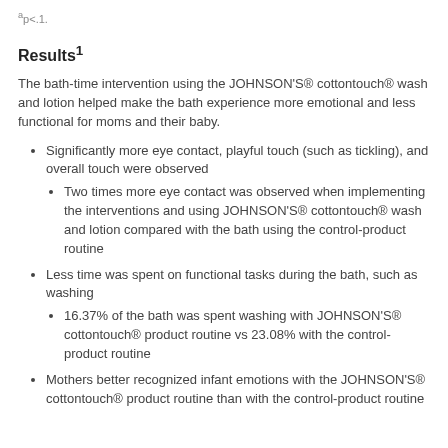ap<.1.
Results1
The bath-time intervention using the JOHNSON'S® cottontouch® wash and lotion helped make the bath experience more emotional and less functional for moms and their baby.
Significantly more eye contact, playful touch (such as tickling), and overall touch were observed
Two times more eye contact was observed when implementing the interventions and using JOHNSON'S® cottontouch® wash and lotion compared with the bath using the control-product routine
Less time was spent on functional tasks during the bath, such as washing
16.37% of the bath was spent washing with JOHNSON'S® cottontouch® product routine vs 23.08% with the control-product routine
Mothers better recognized infant emotions with the JOHNSON'S® cottontouch® product routine than with the control-product routine